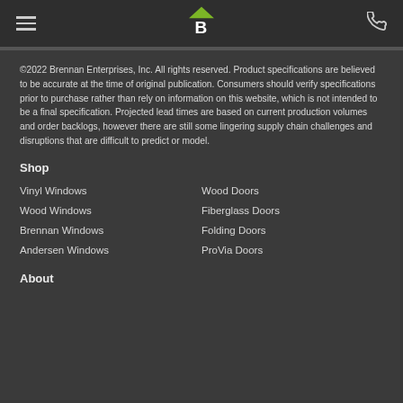Navigation bar with hamburger menu, Brennan Enterprises logo, and phone icon
©2022 Brennan Enterprises, Inc. All rights reserved. Product specifications are believed to be accurate at the time of original publication. Consumers should verify specifications prior to purchase rather than rely on information on this website, which is not intended to be a final specification. Projected lead times are based on current production volumes and order backlogs, however there are still some lingering supply chain challenges and disruptions that are difficult to predict or model.
Shop
Vinyl Windows
Wood Doors
Wood Windows
Fiberglass Doors
Brennan Windows
Folding Doors
Andersen Windows
ProVia Doors
About